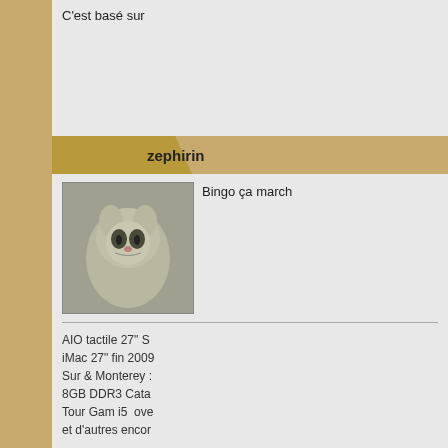C'est basé sur
zephirin
[Figure (photo): Avatar photo of a cat (tabby), sitting and looking at camera]
Bingo ça march
AIO tactile 27" S
iMac 27" fin 2009
Sur & Monterey :
8GB DDR3 Cata
Tour Gam i5  ove
et d'autres encor
malbo
[Figure (photo): Avatar photo of a man, dark hair, wearing light shirt]
Je viens d'ajou
mémoire, ce m
partie graphiqu
pas de carte gr